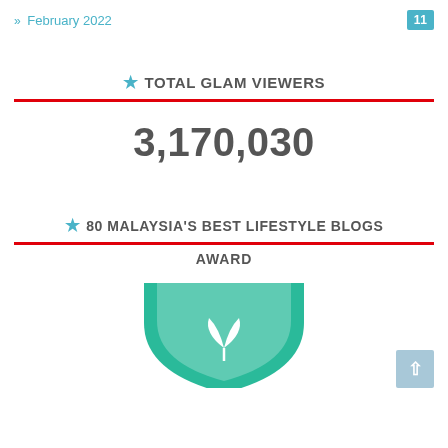» February 2022   11
★ TOTAL GLAM VIEWERS
3,170,030
★ 80 MALAYSIA'S BEST LIFESTYLE BLOGS AWARD
[Figure (illustration): Teal/green shield-shaped award badge with white leaf icon, partially visible at bottom of page]